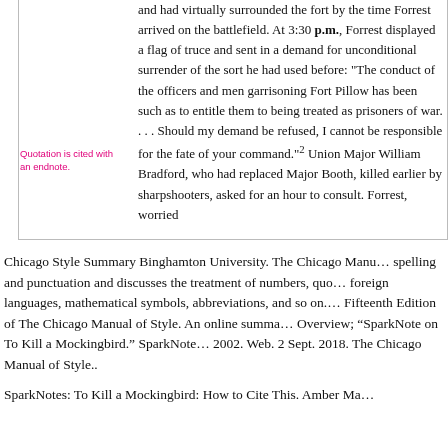and had virtually surrounded the fort by the time Forrest arrived on the battlefield. At 3:30 p.m., Forrest displayed a flag of truce and sent in a demand for unconditional surrender of the sort he had used before: "The conduct of the officers and men garrisoning Fort Pillow has been such as to entitle them to being treated as prisoners of war. . . . Should my demand be refused, I cannot be responsible for the fate of your command."2 Union Major William Bradford, who had replaced Major Booth, killed earlier by sharpshooters, asked for an hour to consult. Forrest, worried
Quotation is cited with an endnote.
Chicago Style Summary Binghamton University. The Chicago Manual of Style covers spelling and punctuation and discusses the treatment of numbers, quotations, foreign languages, mathematical symbols, abbreviations, and so on. The Fifteenth Edition of The Chicago Manual of Style. An online summary. Overview; “SparkNote on To Kill a Mockingbird.” SparkNotes LLC. 2002. Web. 2 Sept. 2018. The Chicago Manual of Style..
SparkNotes: To Kill a Mockingbird: How to Cite This. Amber Mas...